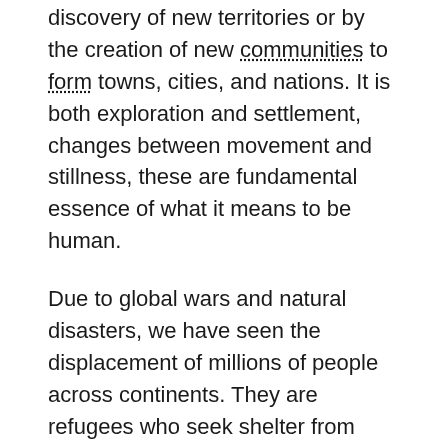discovery of new territories or by the creation of new communities to form towns, cities, and nations. It is both exploration and settlement, changes between movement and stillness, these are fundamental essence of what it means to be human.
Due to global wars and natural disasters, we have seen the displacement of millions of people across continents. They are refugees who seek shelter from disaster in their countries, settle in unknown lands in the middle of nowhere, starting with nothing but tent to call home. This project “Weaving a Home” brings back the traditional architectural concept of tent shelters, it creates a technical, structural fabric that expands to enclose users and contracts for mobility, it provides safety and comforts of contemporary life, such as running water, heat, electricity, storage, and many more.